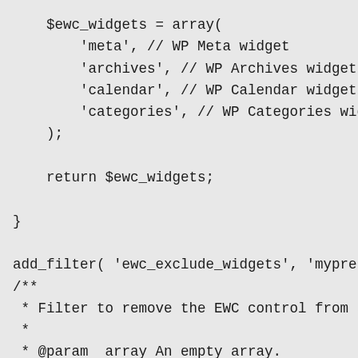[Figure (screenshot): Code snippet showing PHP array of widget names and add_filter call with doc comment]